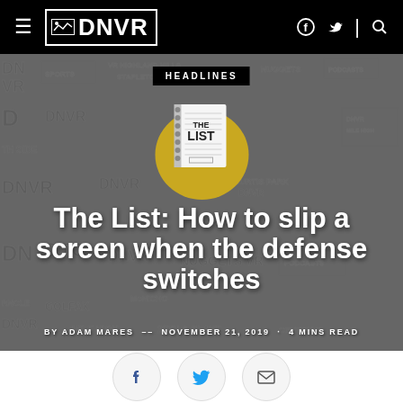DNVR
[Figure (screenshot): DNVR website hero banner with tiled DNVR logo watermark background, HEADLINES badge, The List podcast logo (spiral notebook on gold circle), and article headline text]
The List: How to slip a screen when the defense switches
BY ADAM MARES  –– NOVEMBER 21, 2019 · 4 MINS READ
[Figure (infographic): Social share buttons: Facebook, Twitter, Email icons in circular grey buttons]